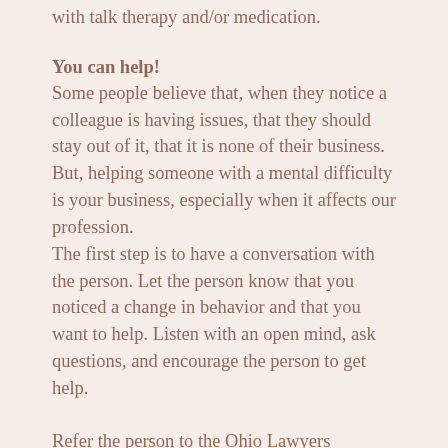with talk therapy and/or medication.
You can help!
Some people believe that, when they notice a colleague is having issues, that they should stay out of it, that it is none of their business. But, helping someone with a mental difficulty is your business, especially when it affects our profession.
The first step is to have a conversation with the person. Let the person know that you noticed a change in behavior and that you want to help. Listen with an open mind, ask questions, and encourage the person to get help.
Refer the person to the Ohio Lawyers Assistance Program. We help Ohio